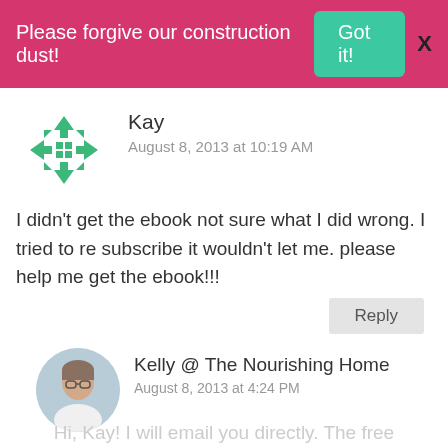Please forgive our construction dust!  Got it!  X
[Figure (illustration): Green geometric avatar for user Kay]
Kay
August 8, 2013 at 10:19 AM
I didn't get the ebook not sure what I did wrong. I tried to re subscribe it wouldn't let me. please help me get the ebook!!!
Reply
[Figure (photo): Circular profile photo of Kelly, a woman with glasses and light hair, wearing a white top]
Kelly @ The Nourishing Home
August 8, 2013 at 4:24 PM
Hi, Kay! I will email you directly. The free